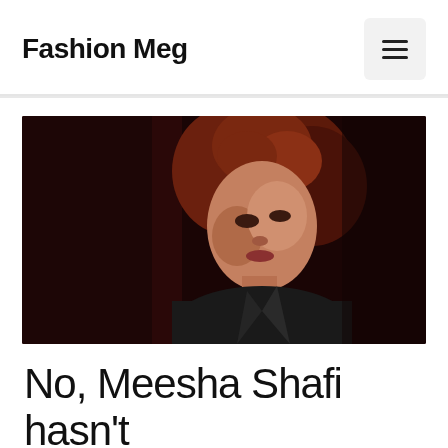Fashion Meg
[Figure (photo): A woman with reddish-brown hair, looking sideways, wearing a dark outfit, against a dark reddish background]
No, Meesha Shafi hasn't